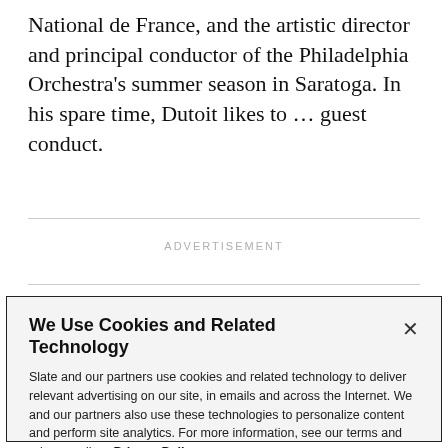National de France, and the artistic director and principal conductor of the Philadelphia Orchestra's summer season in Saratoga. In his spare time, Dutoit likes to … guest conduct.
ADVERTISEMENT
We Use Cookies and Related Technology
Slate and our partners use cookies and related technology to deliver relevant advertising on our site, in emails and across the Internet. We and our partners also use these technologies to personalize content and perform site analytics. For more information, see our terms and privacy policy. Privacy Policy
OK